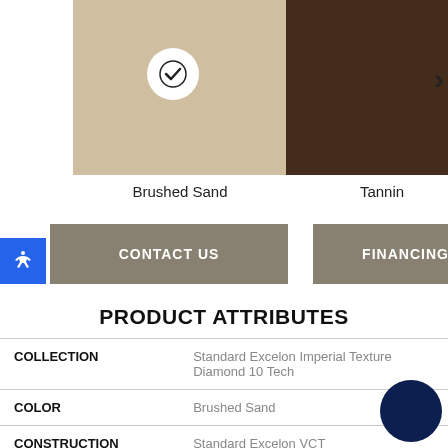[Figure (illustration): Two color swatches: left is Brushed Sand (beige/tan texture) with a white checkmark circle overlay, right is Tannin (dark brown texture). A right chevron arrow is visible at the far right.]
Brushed Sand
Tannin
CONTACT US
FINANCING
PRODUCT ATTRIBUTES
| COLLECTION | Standard Excelon Imperial Texture Diamond 10 Tech |
| COLOR | Brushed Sand |
| CONSTRUCTION | Standard Excelon VCT |